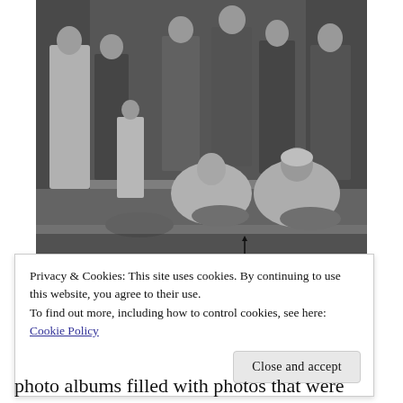[Figure (photo): Black and white historical photograph showing a group of people outdoors. Several women and children are visible; two women are seated on the ground with bowls or basins in front of them, while others stand behind. The setting appears informal, possibly a rural or outdoor work scene.]
Privacy & Cookies: This site uses cookies. By continuing to use this website, you agree to their use.
To find out more, including how to control cookies, see here:
Cookie Policy
Close and accept
photo albums filled with photos that were